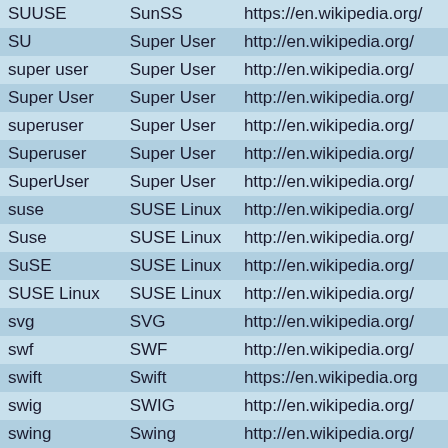| Term | Expansion | URL |
| --- | --- | --- |
| SUUSE | SunSS | https://en.wikipedia.org/ |
| SU | Super User | http://en.wikipedia.org/ |
| super user | Super User | http://en.wikipedia.org/ |
| Super User | Super User | http://en.wikipedia.org/ |
| superuser | Super User | http://en.wikipedia.org/ |
| Superuser | Super User | http://en.wikipedia.org/ |
| SuperUser | Super User | http://en.wikipedia.org/ |
| suse | SUSE Linux | http://en.wikipedia.org/ |
| Suse | SUSE Linux | http://en.wikipedia.org/ |
| SuSE | SUSE Linux | http://en.wikipedia.org/ |
| SUSE Linux | SUSE Linux | http://en.wikipedia.org/ |
| svg | SVG | http://en.wikipedia.org/ |
| swf | SWF | http://en.wikipedia.org/ |
| swift | Swift | https://en.wikipedia.org |
| swig | SWIG | http://en.wikipedia.org/ |
| swing | Swing | http://en.wikipedia.org/ |
| smps | switched-mode power supply | https://en.wikipedia.org |
| Smps | switched-mode power supply | https://en.wikipedia.org |
| SMPS | switched-mode power supply | https://en.wikipedia.org |